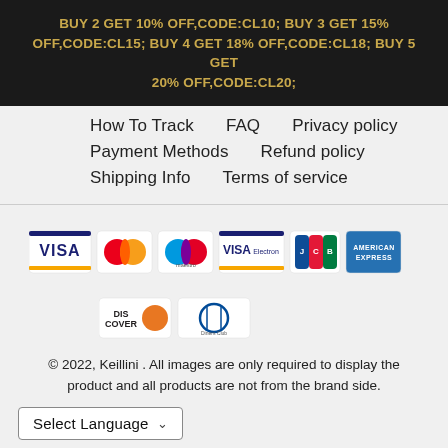BUY 2 GET 10% OFF,CODE:CL10; BUY 3 GET 15% OFF,CODE:CL15; BUY 4 GET 18% OFF,CODE:CL18; BUY 5 GET 20% OFF,CODE:CL20;
How To Track
FAQ
Privacy policy
Payment Methods
Refund policy
Shipping Info
Terms of service
[Figure (illustration): Payment method logos: Visa, Mastercard, Maestro, Visa Electron, JCB, American Express, Discover, Diners Club]
© 2022, Keillini . All images are only required to display the product and all products are not from the brand side.
Select Language